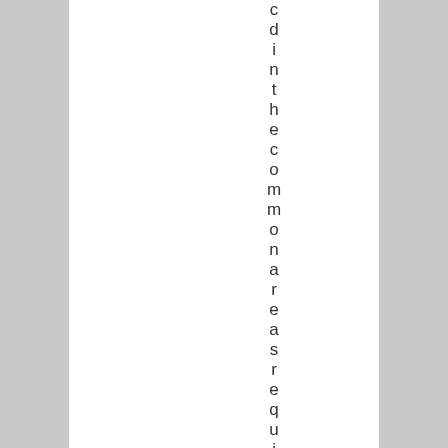c d i n t h e c o m m o n a r e a s r e q u i r e